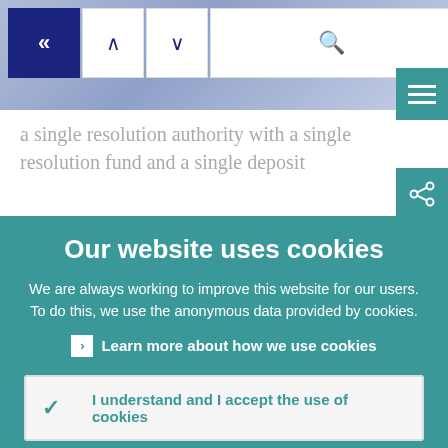[Figure (screenshot): Website navigation bar with back, up, down navigation buttons and search box, on a blue-grey gradient background]
a single resolution authority with a single resolution fund and a single deposit
Our website uses cookies
We are always working to improve this website for our users. To do this, we use the anonymous data provided by cookies.
Learn more about how we use cookies
I understand and I accept the use of cookies
I do not accept the use of cookies